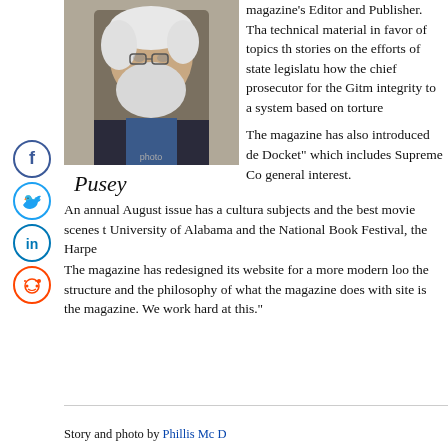[Figure (photo): Photo of an elderly man with white hair and beard wearing glasses and a dark jacket, profile/three-quarter view]
Pusey (signature/caption)
magazine's Editor and Publisher. That technical material in favor of topics th stories on the efforts of state legislatu how the chief prosecutor for the Gitm integrity to a system based on torture
The magazine has also introduced de Docket" which includes Supreme Co general interest.
An annual August issue has a cultura subjects and the best movie scenes t University of Alabama and the National Book Festival, the Harpe
The magazine has redesigned its website for a more modern loo the structure and the philosophy of what the magazine does with site is the magazine. We work hard at this."
Story and photo by Phillis Mc D...